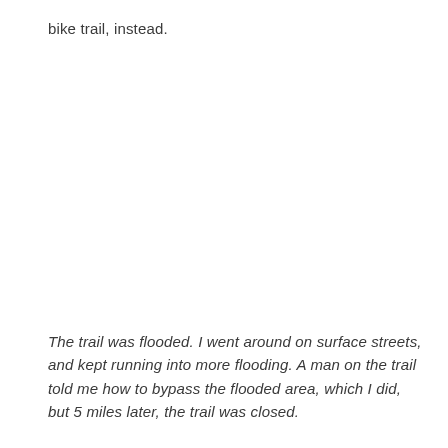bike trail, instead.
The trail was flooded. I went around on surface streets, and kept running into more flooding. A man on the trail told me how to bypass the flooded area, which I did, but 5 miles later, the trail was closed.